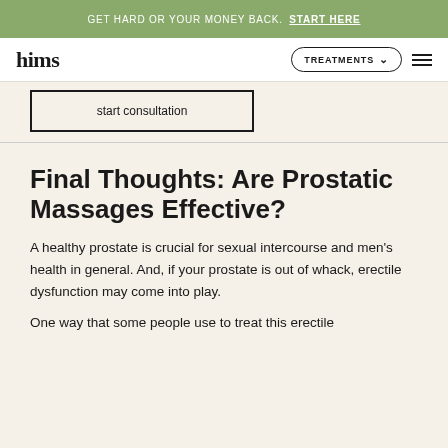GET HARD OR YOUR MONEY BACK. START HERE
hims | TREATMENTS
start consultation
Final Thoughts: Are Prostatic Massages Effective?
A healthy prostate is crucial for sexual intercourse and men's health in general. And, if your prostate is out of whack, erectile dysfunction may come into play.
One way that some people use to treat this erectile